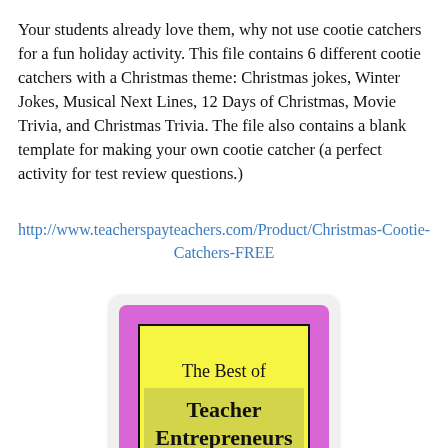Your students already love them, why not use cootie catchers for a fun holiday activity. This file contains 6 different cootie catchers with a Christmas theme: Christmas jokes, Winter Jokes, Musical Next Lines, 12 Days of Christmas, Movie Trivia, and Christmas Trivia. The file also contains a blank template for making your own cootie catcher (a perfect activity for test review questions.)
http://www.teacherspayteachers.com/Product/Christmas-Cootie-Catchers-FREE
[Figure (logo): Logo for 'The Best of Teacher Entrepreneurs' — yellow square with black border inside a purple/pink border, on a light grey rounded rectangle background. Text reads 'The Best of' then 'Teacher Entrepreneurs' in bold.]